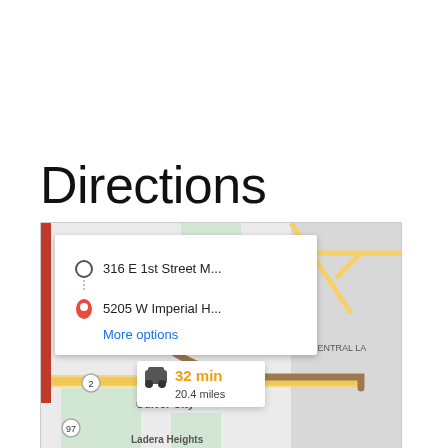Directions
[Figure (map): Google Maps screenshot showing a route from 316 E 1st Street to 5205 W Imperial Hwy, with Beverly Hills, Culver City, Ladera Heights visible. A directions card shows 32 min and 20.4 miles via car.]